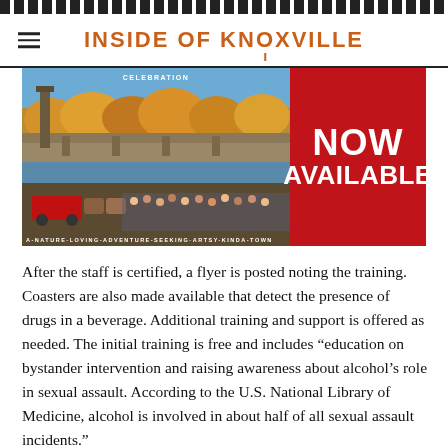INSIDE OF KNOXVILLE
[Figure (photo): Advertisement for Knoxville showing a parade/festival scene with a bridge, autumn trees, and horses pulling a wagon. Red panel on right reads NOW AVAILABLE. Tagline: A-NATURE-LOVING-ADVENTURE-SEEKING-ARTSY-KINDA-TOWN]
After the staff is certified, a flyer is posted noting the training. Coasters are also made available that detect the presence of drugs in a beverage. Additional training and support is offered as needed. The initial training is free and includes “education on bystander intervention and raising awareness about alcohol’s role in sexual assault. According to the U.S. National Library of Medicine, alcohol is involved in about half of all sexual assault incidents.”
Initial response has been strong and our own downtown